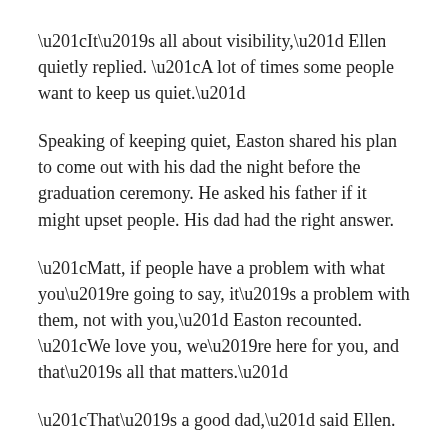“It’s all about visibility,” Ellen quietly replied. “A lot of times some people want to keep us quiet.”
Speaking of keeping quiet, Easton shared his plan to come out with his dad the night before the graduation ceremony. He asked his father if it might upset people. His dad had the right answer.
“Matt, if people have a problem with what you’re going to say, it’s a problem with them, not with you,” Easton recounted. “We love you, we’re here for you, and that’s all that matters.”
“That’s a good dad,” said Ellen.
With his studies in political science now complete,